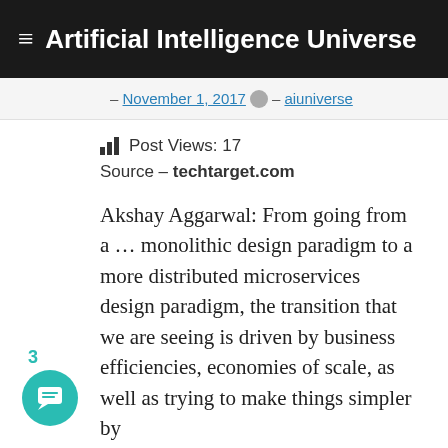Artificial Intelligence Universe
– November 1, 2017  – aiuniverse
Post Views: 17
Source – techtarget.com
Akshay Aggarwal: From going from a … monolithic design paradigm to a more distributed microservices design paradigm, the transition that we are seeing is driven by business efficiencies, economies of scale, as well as trying to make things simpler by